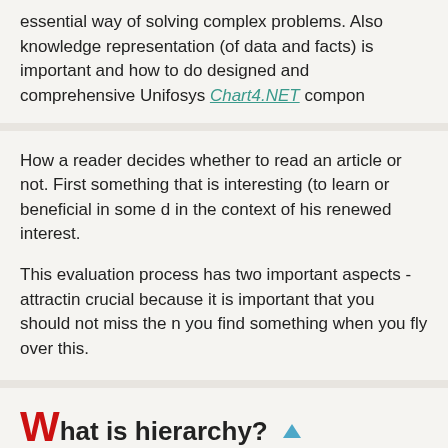essential way of solving complex problems. Also knowledge representation (of data and facts) is important and how to do designed and comprehensive Unifosys Chart4.NET compon
How a reader decides whether to read an article or not. First something that is interesting (to learn or beneficial in some c in the context of his renewed interest.

This evaluation process has two important aspects - attractin crucial because it is important that you should not miss the n you find something when you fly over this.
What is hierarchy?
The hierarchy shows the relationship of various units. It is im
Structure
Hierarchy shows the inner-composition of an item or id
Organization
It shows the components of an item and how that are b